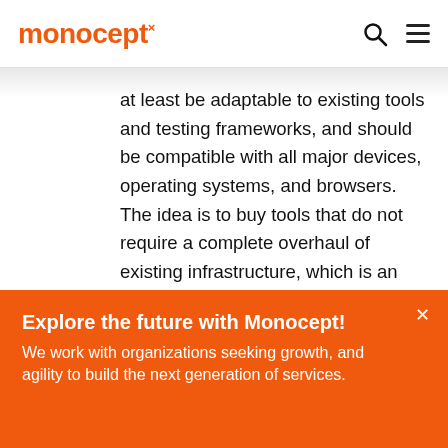monocept
at least be adaptable to existing tools and testing frameworks, and should be compatible with all major devices, operating systems, and browsers. The idea is to buy tools that do not require a complete overhaul of existing infrastructure, which is an undertaking that can be
Explore the future with Monocept!
We work with organizations seeking growth, and agility to build the next generation of services.